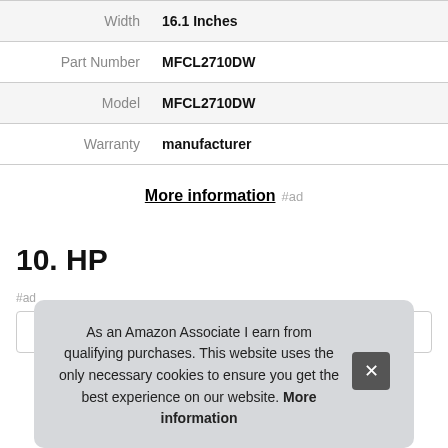| Width | 16.1 Inches |
| Part Number | MFCL2710DW |
| Model | MFCL2710DW |
| Warranty | manufacturer |
More information #ad
10. HP
#ad
As an Amazon Associate I earn from qualifying purchases. This website uses the only necessary cookies to ensure you get the best experience on our website. More information